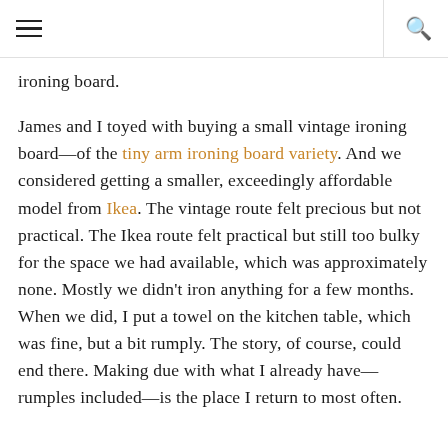☰  🔍
ironing board.
James and I toyed with buying a small vintage ironing board—of the tiny arm ironing board variety. And we considered getting a smaller, exceedingly affordable model from Ikea. The vintage route felt precious but not practical. The Ikea route felt practical but still too bulky for the space we had available, which was approximately none. Mostly we didn't iron anything for a few months. When we did, I put a towel on the kitchen table, which was fine, but a bit rumply. The story, of course, could end there. Making due with what I already have—rumples included—is the place I return to most often.